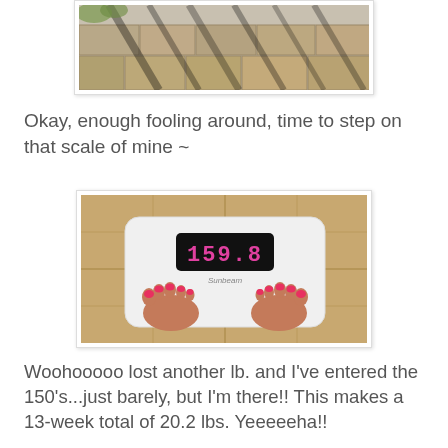[Figure (photo): Outdoor photo showing stone wall/patio with shadows from a railing or fence, sunlit scene, partially cropped at top]
Okay, enough fooling around, time to step on that scale of mine ~
[Figure (photo): Overhead photo of a person's feet with red toenails standing on a white Sunbeam digital bathroom scale showing 159.8 lbs, on a tan tile floor]
Woohooooo lost another lb. and I've entered the 150's...just barely, but I'm there!! This makes a 13-week total of 20.2 lbs. Yeeeeeha!!